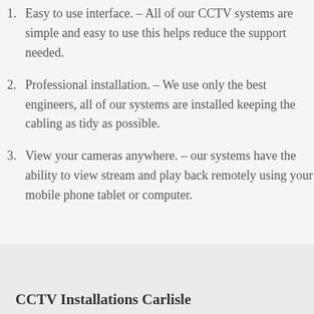Easy to use interface. – All of our CCTV systems are simple and easy to use this helps reduce the support needed.
Professional installation. – We use only the best engineers, all of our systems are installed keeping the cabling as tidy as possible.
View your cameras anywhere. – our systems have the ability to view stream and play back remotely using your mobile phone tablet or computer.
CCTV Installations Carlisle